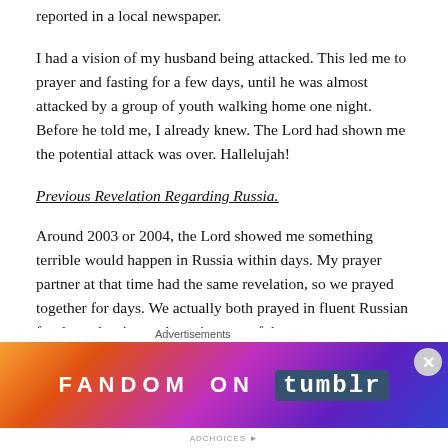reported in a local newspaper.
I had a vision of my husband being attacked. This led me to prayer and fasting for a few days, until he was almost attacked by a group of youth walking home one night. Before he told me, I already knew. The Lord had shown me the potential attack was over. Hallelujah!
Previous Revelation Regarding Russia.
Around 2003 or 2004, the Lord showed me something terrible would happen in Russia within days. My prayer partner at that time had the same revelation, so we prayed together for days. We actually both prayed in fluent Russian for days, despite not knowing any of that
Advertisements
[Figure (infographic): FANDOM ON tumblr advertisement banner with colorful gradient background (orange to purple to blue) with white decorative elements and text.]